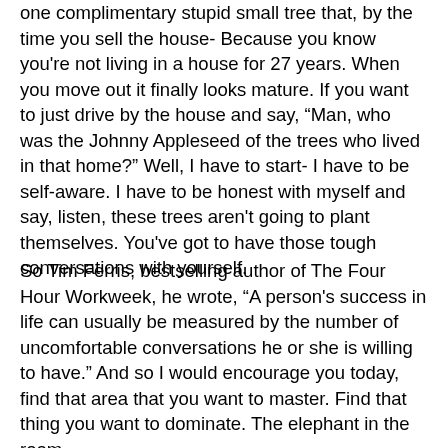one complimentary stupid small tree that, by the time you sell the house- Because you know you're not living in a house for 27 years. When you move out it finally looks mature. If you want to just drive by the house and say, “Man, who was the Johnny Appleseed of the trees who lived in that home?” Well, I have to start- I have to be self-aware. I have to be honest with myself and say, listen, these trees aren't going to plant themselves. You've got to have those tough conversations with yourself.
So Tim Ferris, bestselling author of The Four Hour Workweek, he wrote, “A person's success in life can usually be measured by the number of uncomfortable conversations he or she is willing to have.” And so I would encourage you today, find that area that you want to master. Find that thing you want to dominate. The elephant in the room.
When we started that business five years ago, Justin and I came together and we said, “If we’re going to do this,